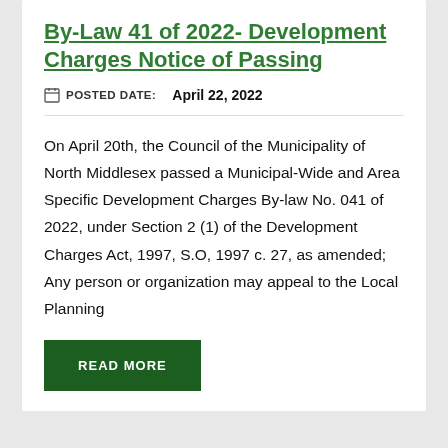By-Law 41 of 2022- Development Charges Notice of Passing
POSTED DATE: April 22, 2022
On April 20th, the Council of the Municipality of North Middlesex passed a Municipal-Wide and Area Specific Development Charges By-law No. 041 of 2022, under Section 2 (1) of the Development Charges Act, 1997, S.O, 1997 c. 27, as amended; Any person or organization may appeal to the Local Planning
READ MORE